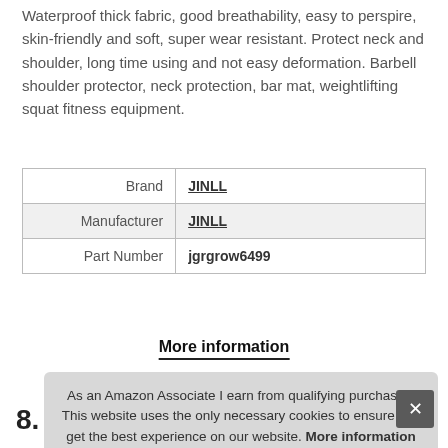Waterproof thick fabric, good breathability, easy to perspire, skin-friendly and soft, super wear resistant. Protect neck and shoulder, long time using and not easy deformation. Barbell shoulder protector, neck protection, bar mat, weightlifting squat fitness equipment.
| Brand | JINLL |
| Manufacturer | JINLL |
| Part Number | jgrgrow6499 |
More information
As an Amazon Associate I earn from qualifying purchases. This website uses the only necessary cookies to ensure you get the best experience on our website. More information
8.